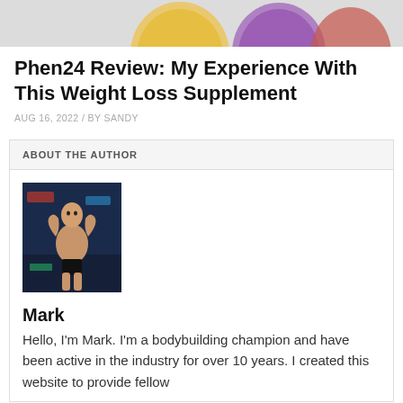[Figure (photo): Partial top strip showing supplement product image (pill bottles visible, cropped)]
Phen24 Review: My Experience With This Weight Loss Supplement
AUG 16, 2022 / BY SANDY
ABOUT THE AUTHOR
[Figure (photo): Photo of Mark, a bodybuilding champion, posing on stage flexing muscles, dark blue background with competition signage]
Mark
Hello, I'm Mark. I'm a bodybuilding champion and have been active in the industry for over 10 years. I created this website to provide fellow